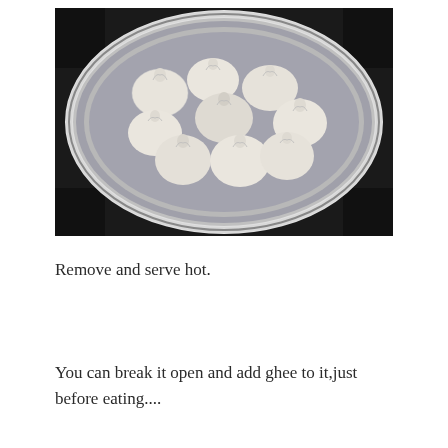[Figure (photo): Steamed dumplings or modaks in a round stainless steel steamer/bowl, viewed from above. The white dough balls with pinched tops are arranged in a circular metal container against a dark background.]
Remove and serve hot.
You can break it open and add ghee to it,just before eating....